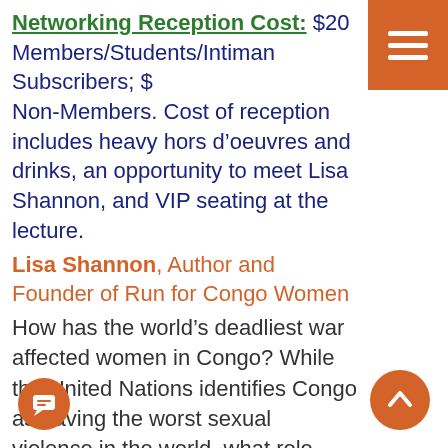Networking Reception Cost: $20 Members/Students/Intiman Subscribers; $[amount] Non-Members. Cost of reception includes heavy hors d’oeuvres and drinks, an opportunity to meet Lisa Shannon, and VIP seating at the lecture.
Lisa Shannon, Author and Founder of Run for Congo Women
How has the world’s deadliest war affected women in Congo? While the United Nations identifies Congo as having the worst sexual violence in the world, what role should the international community play in combating [it] as a tool of warfare? How have individual [people responded from it]...